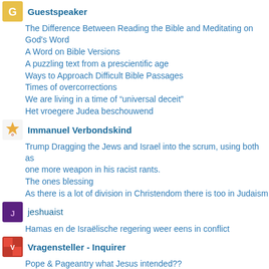Guestspeaker
The Difference Between Reading the Bible and Meditating on God's Word
A Word on Bible Versions
A puzzling text from a prescientific age
Ways to Approach Difficult Bible Passages
Times of overcorrections
We are living in a time of “universal deceit”
Het vroegere Judea beschouwend
Immanuel Verbondskind
Trump Dragging the Jews and Israel into the scrum, using both as one more weapon in his racist rants.
The ones blessing
As there is a lot of division in Christendom there is too in Judaism
jeshuaist
Hamas en de Israëlische regering weer eens in conflict
Vragensteller - Inquirer
Pope & Pageantry what Jesus intended??
Did the first followers of Jesus have ‘church’
A popular television programme and a new website